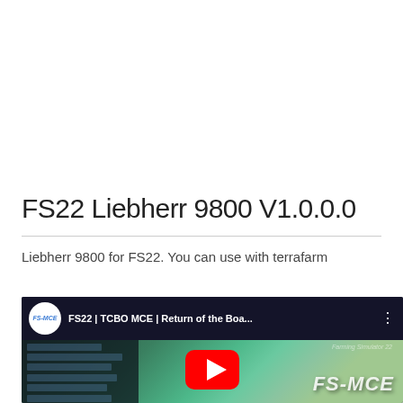FS22 Liebherr 9800 V1.0.0.0
Liebherr 9800 for FS22. You can use with terrafarm
[Figure (screenshot): YouTube video thumbnail showing FS22 TCBO MCE Return of the Boa... video with FS-MCE logo, Farming Simulator 22 gameplay with teal terrain view, red YouTube play button in center]